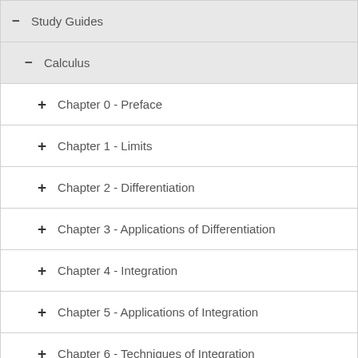– Study Guides
– Calculus
+ Chapter 0 - Preface
+ Chapter 1 - Limits
+ Chapter 2 - Differentiation
+ Chapter 3 - Applications of Differentiation
+ Chapter 4 - Integration
+ Chapter 5 - Applications of Integration
+ Chapter 6 - Techniques of Integration
– Chapter 7 - Additional Applications of Integration
+ Examples